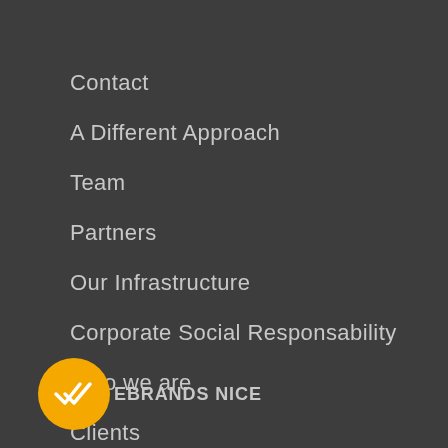Contact
A Different Approach
Team
Partners
Our Infrastructure
Corporate Social Responsability
Who we are
Clients
Testimonials
[Figure (logo): Yellow circular logo with double checkmark icon, followed by EBRANDS NICE text]
EBRANDS NICE